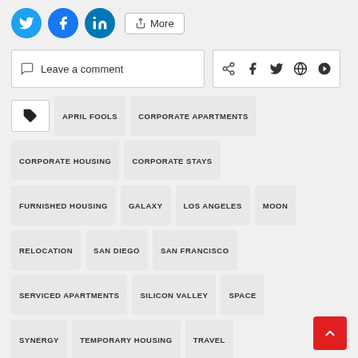[Figure (infographic): Social share buttons: Twitter, Facebook, LinkedIn circles and a More button]
[Figure (infographic): Leave a comment box and social share icons (share, f, twitter, g+, pinterest)]
APRIL FOOLS
CORPORATE APARTMENTS
CORPORATE HOUSING
CORPORATE STAYS
FURNISHED HOUSING
GALAXY
LOS ANGELES
MOON
RELOCATION
SAN DIEGO
SAN FRANCISCO
SERVICED APARTMENTS
SILICON VALLEY
SPACE
SYNERGY
TEMPORARY HOUSING
TRAVEL